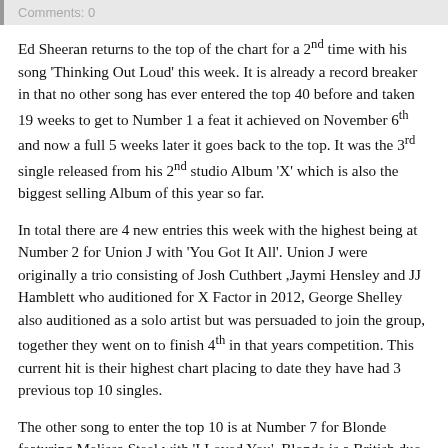Comments: 0
Ed Sheeran returns to the top of the chart for a 2nd time with his song 'Thinking Out Loud' this week. It is already a record breaker in that no other song has ever entered the top 40 before and taken 19 weeks to get to Number 1 a feat it achieved on November 6th and now a full 5 weeks later it goes back to the top. It was the 3rd single released from his 2nd studio Album 'X' which is also the biggest selling Album of this year so far.
In total there are 4 new entries this week with the highest being at Number 2 for Union J with 'You Got It All'. Union J were originally a trio consisting of Josh Cuthbert ,Jaymi Hensley and JJ Hamblett who auditioned for X Factor in 2012, George Shelley also auditioned as a solo artist but was persuaded to join the group, together they went on to finish 4th in that years competition. This current hit is their highest chart placing to date they have had 3 previous top 10 singles.
The other song to enter the top 10 is at Number 7 for Blonde featuring Melissa Steel with 'I Loved You'. Blonde is a British duo who are tasting chart